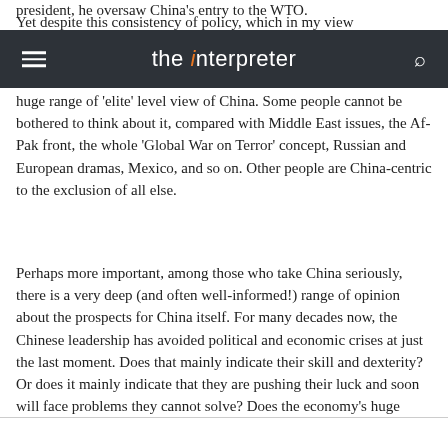president, he oversaw China's entry to the WTO.
the interpreter
Yet despite this consistency of policy, which in my view huge range of 'elite' level view of China. Some people cannot be bothered to think about it, compared with Middle East issues, the Af-Pak front, the whole 'Global War on Terror' concept, Russian and European dramas, Mexico, and so on. Other people are China-centric to the exclusion of all else.
Perhaps more important, among those who take China seriously, there is a very deep (and often well-informed!) range of opinion about the prospects for China itself. For many decades now, the Chinese leadership has avoided political and economic crises at just the last moment. Does that mainly indicate their skill and dexterity? Or does it mainly indicate that they are pushing their luck and soon will face problems they cannot solve? Does the economy's huge